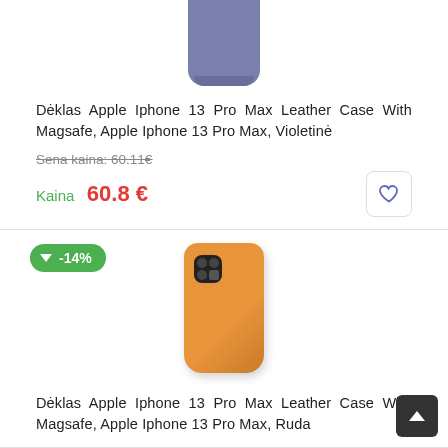[Figure (photo): Purple iPhone 13 Pro Max Leather Case product image, partial view from top]
Dėklas Apple Iphone 13 Pro Max Leather Case With Magsafe, Apple Iphone 13 Pro Max, Violetinė
Sena kaina: 60.11€
Kaina 60.8 €
[Figure (photo): Golden/brown iPhone 13 Pro Max Leather Case product image with -14% discount badge]
Dėklas Apple Iphone 13 Pro Max Leather Case With Magsafe, Apple Iphone 13 Pro Max, Ruda